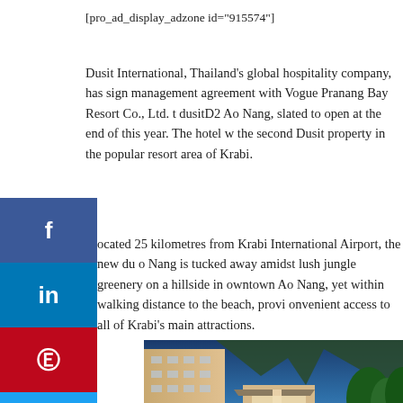[pro_ad_display_adzone id="915574"]
Dusit International, Thailand’s global hospitality company, has sign management agreement with Vogue Pranang Bay Resort Co., Ltd. to dusitD2 Ao Nang, slated to open at the end of this year. The hotel w the second Dusit property in the popular resort area of Krabi.
ocated 25 kilometres from Krabi International Airport, the new du o Nang is tucked away amidst lush jungle greenery on a hillside in owntown Ao Nang, yet within walking distance to the beach, provi onvenient access to all of Krabi’s main attractions.
[Figure (photo): Architectural rendering of dusitD2 Ao Nang hotel showing entrance driveway with lush greenery, modern building facade, and illuminated entrance at dusk/night.]